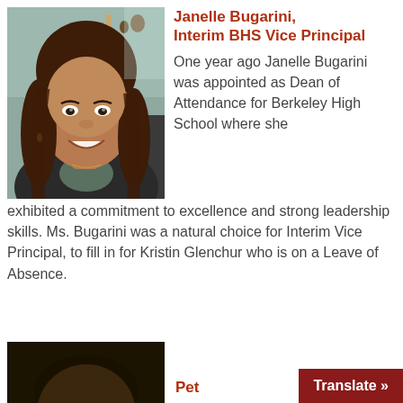[Figure (photo): Portrait photo of Janelle Bugarini, a woman with long wavy brown hair, smiling, wearing a dark jacket with a patterned top, seated indoors.]
Janelle Bugarini, Interim BHS Vice Principal
One year ago Janelle Bugarini was appointed as Dean of Attendance for Berkeley High School where she exhibited a commitment to excellence and strong leadership skills. Ms. Bugarini was a natural choice for Interim Vice Principal, to fill in for Kristin Glenchur who is on a Leave of Absence.
[Figure (photo): Partial photo at bottom left, appears to be another person, mostly dark/cropped.]
Pet